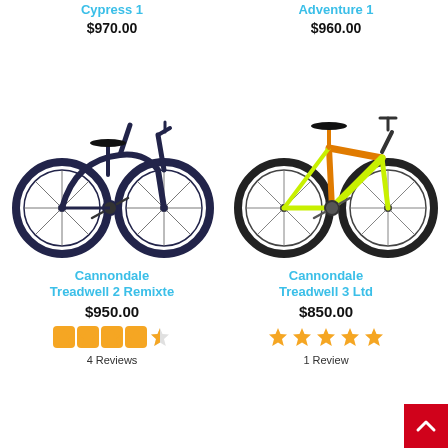Cypress 1
$970.00
Adventure 1
$960.00
[Figure (photo): Dark navy blue Cannondale Treadwell 2 Remixte step-through bicycle]
[Figure (photo): Bright yellow-green and orange Cannondale Treadwell 3 Ltd bicycle]
Cannondale Treadwell 2 Remixte
$950.00
4 Reviews
Cannondale Treadwell 3 Ltd
$850.00
1 Review